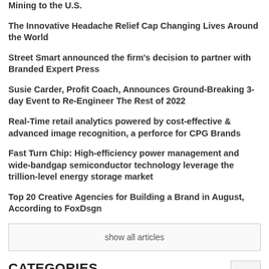Mining to the U.S.
The Innovative Headache Relief Cap Changing Lives Around the World
Street Smart announced the firm's decision to partner with Branded Expert Press
Susie Carder, Profit Coach, Announces Ground-Breaking 3-day Event to Re-Engineer The Rest of 2022
Real-Time retail analytics powered by cost-effective & advanced image recognition, a perforce for CPG Brands
Fast Turn Chip: High-efficiency power management and wide-bandgap semiconductor technology leverage the trillion-level energy storage market
Top 20 Creative Agencies for Building a Brand in August, According to FoxDsgn
show all articles
CATEGORIES